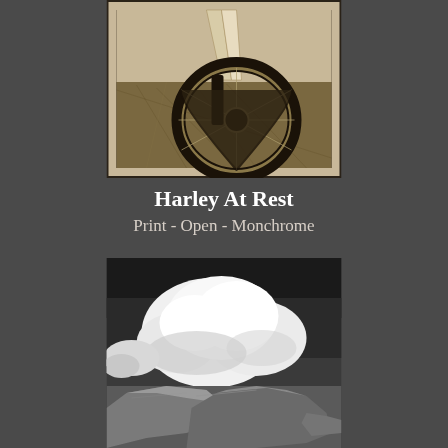[Figure (photo): Sepia-toned close-up photograph of a Harley-Davidson motorcycle front wheel and fork, resting in dry grass. The image has a thin black border with a cream/tan mat border around it.]
Harley At Rest
Print - Open - Monchrome
[Figure (photo): Black and white photograph of large boulders/rock formations in the foreground with dramatic cumulus clouds filling the sky above. High contrast monochrome landscape photography.]